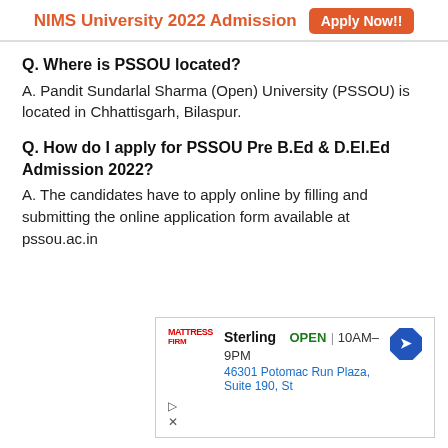NIMS University 2022 Admission  Apply Now!!
Q. Where is PSSOU located?
A. Pandit Sundarlal Sharma (Open) University (PSSOU) is located in Chhattisgarh, Bilaspur.
Q. How do I apply for PSSOU Pre B.Ed & D.El.Ed Admission 2022?
A. The candidates have to apply online by filling and submitting the online application form available at pssou.ac.in
[Figure (screenshot): Advertisement showing Mattress Firm Sterling store with OPEN status, hours 10AM-9PM, address 46301 Potomac Run Plaza, Suite 190, St, with a blue diamond direction arrow icon]